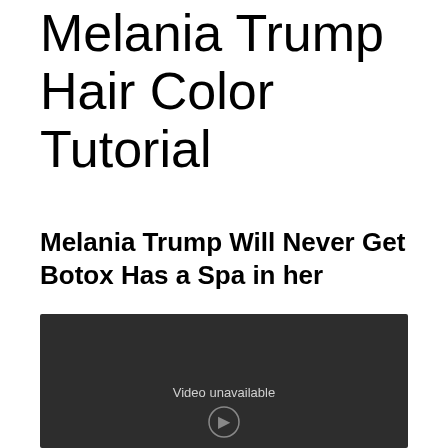Melania Trump Hair Color Tutorial
Melania Trump Will Never Get Botox Has a Spa in her
[Figure (screenshot): Embedded video player showing 'Video unavailable' message on a dark background]